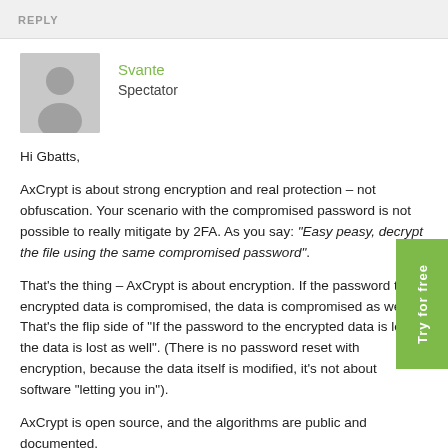REPLY
Svante
Spectator
Hi Gbatts,
AxCrypt is about strong encryption and real protection – not obfuscation. Your scenario with the compromised password is not possible to really mitigate by 2FA. As you say: “Easy peasy, decrypt the file using the same compromised password”.
That’s the thing – AxCrypt is about encryption. If the password to the encrypted data is compromised, the data is compromised as well. That’s the flip side of “If the password to the encrypted data is lost, the data is lost as well”. (There is no password reset with encryption, because the data itself is modified, it’s not about software “letting you in”).
AxCrypt is open source, and the algorithms are public and documented.